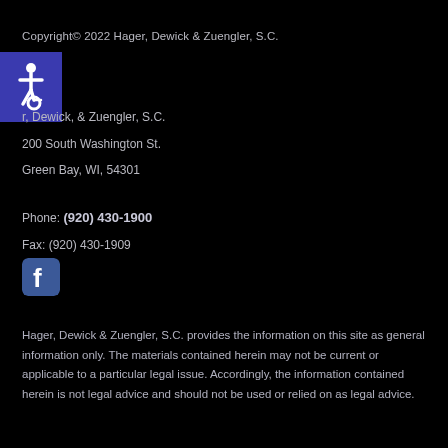Copyright© 2022 Hager, Dewick & Zuengler, S.C.
[Figure (logo): Accessibility icon — white wheelchair symbol on blue background]
r, Dewick, & Zuengler, S.C.
200 South Washington St.
Green Bay, WI, 54301
Phone: (920) 430-1900
Fax: (920) 430-1909
[Figure (logo): Facebook logo icon — white f on blue rounded square background]
Hager, Dewick & Zuengler, S.C. provides the information on this site as general information only. The materials contained herein may not be current or applicable to a particular legal issue. Accordingly, the information contained herein is not legal advice and should not be used or relied on as legal advice.